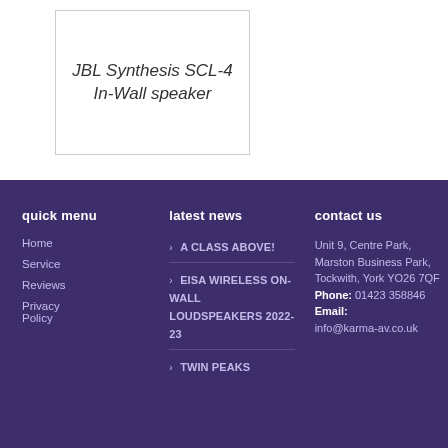JBL Synthesis SCL-4 In-Wall speaker
quick menu
Home
Service
Reviews
Privacy Policy
latest news
A CLASS ABOVE!
EISA WIRELESS ON-WALL LOUDSPEAKERS 2022-23
TWIN PEAKS
contact us
Unit 9, Centre Park, Marston Business Park, Tockwith, York YO26 7QF Phone: 01423 358846 Email: info@karma-av.co.uk